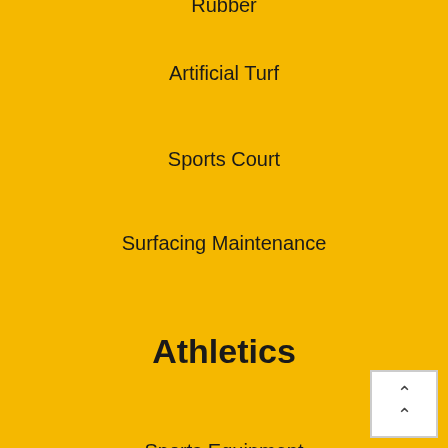Rubber
Artificial Turf
Sports Court
Surfacing Maintenance
Athletics
Sports Equipment
Outdoor Exercise
Fitness and Exercise
Bleachers
Parks and Recreation